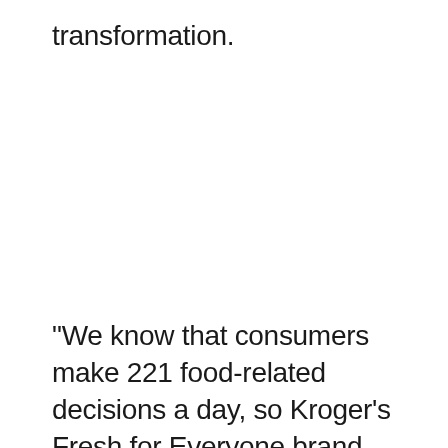transformation.
“We know that consumers make 221 food-related decisions a day, so Kroger’s Fresh for Everyone brand campaign was